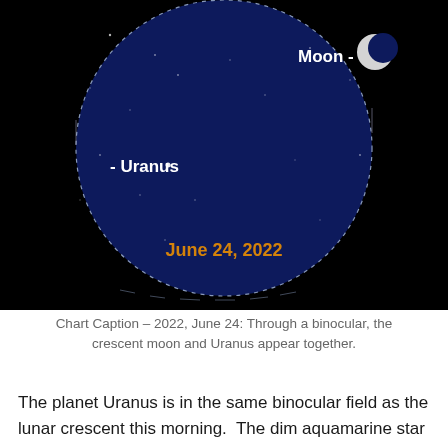[Figure (illustration): Astronomy star chart showing a circular dark navy blue sky map against a black background. The Moon (shown as a crescent) is labeled in white text in the upper right area. Uranus is labeled in white text in the left-center area. The date 'June 24, 2022' is shown in orange text near the bottom of the circle. Several faint stars are visible as small white dots scattered across the field.]
Chart Caption – 2022, June 24: Through a binocular, the crescent moon and Uranus appear together.
The planet Uranus is in the same binocular field as the lunar crescent this morning.  The dim aquamarine star